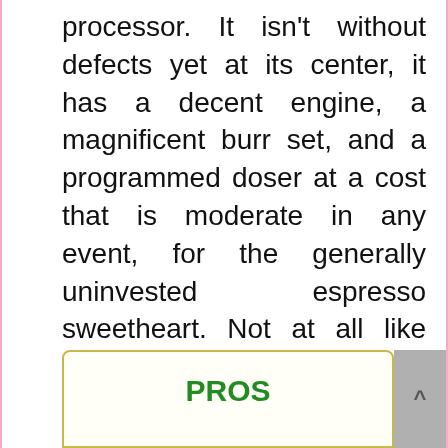processor. It isn't without defects yet at its center, it has a decent engine, a magnificent burr set, and a programmed doser at a cost that is moderate in any event, for the generally uninvested espresso sweetheart. Not at all like numerous section level processors, it is planned for coffee yet doesn't wreck the spending plan.
PROS